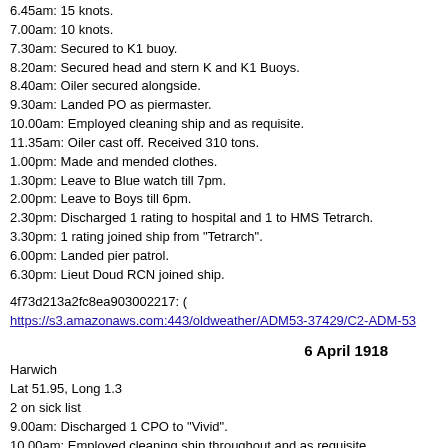6.45am: 15 knots.
7.00am: 10 knots.
7.30am: Secured to K1 buoy.
8.20am: Secured head and stern K and K1 Buoys.
8.40am: Oiler secured alongside.
9.30am: Landed PO as piermaster.
10.00am: Employed cleaning ship and as requisite.
11.35am: Oiler cast off. Received 310 tons.
1.00pm: Made and mended clothes.
1.30pm: Leave to Blue watch till 7pm.
2.00pm: Leave to Boys till 6pm.
2.30pm: Discharged 1 rating to hospital and 1 to HMS Tetrarch.
3.30pm: 1 rating joined ship from "Tetrarch".
6.00pm: Landed pier patrol.
6.30pm: Lieut Doud RCN joined ship.
4f73d213a2fc8ea903002217: (
https://s3.amazonaws.com:443/oldweather/ADM53-37429/C2-ADM-53-...
6 April 1918
Harwich
Lat 51.95, Long 1.3
2 on sick list
9.00am: Discharged 1 CPO to "Vivid".
10.00am: Employed cleaning ship throughout and as requisite.
11.00am: Took in ammunition.
3.00pm: Discharged Lieut. Fairbairn RN to Shotley sick quarters.
4f73d213a2fc8ea903002218: (
https://s3.amazonaws.com:443/oldweather/ADM53-37429/C2-ADM-53-...